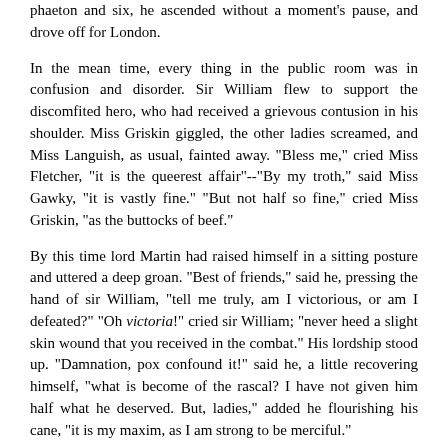phaeton and six, he ascended without a moment's pause, and drove off for London.
In the mean time, every thing in the public room was in confusion and disorder. Sir William flew to support the discomfited hero, who had received a grievous contusion in his shoulder. Miss Griskin giggled, the other ladies screamed, and Miss Languish, as usual, fainted away. "Bless me," cried Miss Fletcher, "it is the queerest affair"--"By my troth," said Miss Gawky, "it is vastly fine." "But not half so fine," cried Miss Griskin, "as the buttocks of beef."
By this time lord Martin had raised himself in a sitting posture and uttered a deep groan. "Best of friends," said he, pressing the hand of sir William, "tell me truly, am I victorious, or am I defeated?" "Oh victoria!" cried sir William; "never heed a slight skin wound that you received in the combat." His lordship stood up. "Damnation, pox confound it!" said he, a little recovering himself, "what is become of the rascal? I have not given him half what he deserved. But, ladies," added he flourishing his cane, "it is my maxim, as I am strong to be merciful."
Saying this, he advanced towards Delia, and, with a flourish of importance and conceit, laid the weapon, which he had so roundly employed, at her feet. "Loveliest of women," said he, "to your shrine I devote myself. Upon your altar I lay the insignia of my